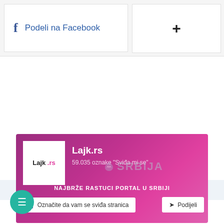[Figure (screenshot): Facebook share button with 'f' icon and text 'Podeli na Facebook']
[Figure (screenshot): Plus button (+) for adding content]
[Figure (screenshot): Facebook page widget for Lajk.rs showing 59.035 oznake 'Svida mi se', NAJBRZE RASTUĆI PORTAL U SRBIJI, with 'Označite da vam se sviđa stranica' and 'Podijeli' buttons]
[Figure (screenshot): Teal chat bubble icon at bottom left]